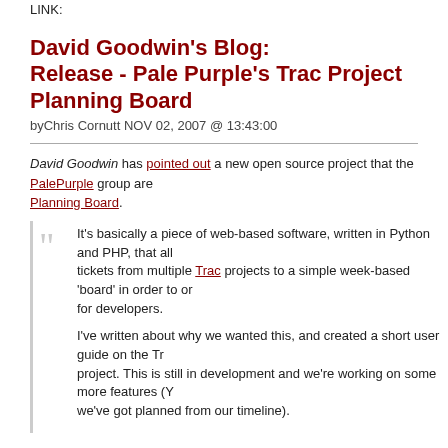LINK:
David Goodwin's Blog:
Release - Pale Purple's Trac Project Planning Board
byChris Cornutt NOV 02, 2007 @ 13:43:00
David Goodwin has pointed out a new open source project that the PalePurple group are... Planning Board.
It's basically a piece of web-based software, written in Python and PHP, that all... tickets from multiple Trac projects to a simple week-based 'board' in order to or... for developers.

I've written about why we wanted this, and created a short user guide on the Tr... project. This is still in development and we're working on some more features (Y... we've got planned from our timeline).
It's been released under the GPL and has a Subversion repository where you can grab th... There's also an installation guide that's been developed to help you get started.
tagged: palepurple trac project planning board gpl application subversion palepurple trac project pla... subversion
LINK: